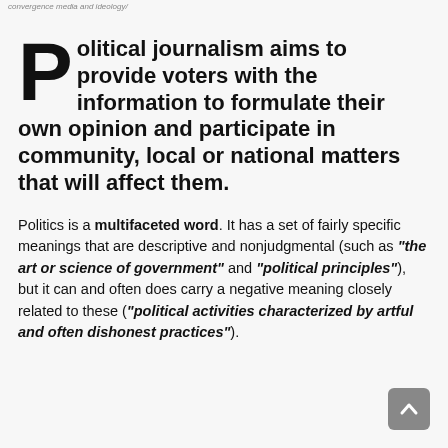convergence media and ideology/
Political journalism aims to provide voters with the information to formulate their own opinion and participate in community, local or national matters that will affect them.
Politics is a multifaceted word. It has a set of fairly specific meanings that are descriptive and nonjudgmental (such as “the art or science of government” and “political principles”), but it can and often does carry a negative meaning closely related to these (“political activities characterized by artful and often dishonest practices”).